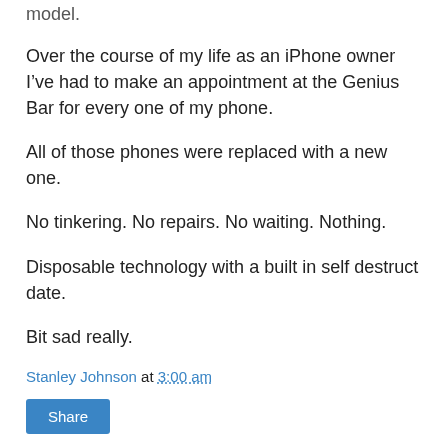model.
Over the course of my life as an iPhone owner I've had to make an appointment at the Genius Bar for every one of my phone.
All of those phones were replaced with a new one.
No tinkering. No repairs. No waiting. Nothing.
Disposable technology with a built in self destruct date.
Bit sad really.
Stanley Johnson at 3:00 am
Share
Monday, 11 November 2013
Whatever happened to...